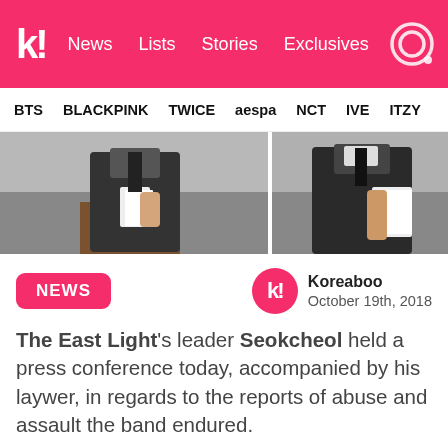k! News Lists Stories Exclusives
BTS BLACKPINK TWICE aespa NCT IVE ITZY
[Figure (photo): Two people in dark suits holding papers at a press conference, split image]
NEWS
Koreaboo
October 19th, 2018
The East Light's leader Seokcheol held a press conference today, accompanied by his laywer, in regards to the reports of abuse and assault the band endured.
[Figure (photo): Room interior with ceiling lights and Korean text banner reading partial Korean characters]